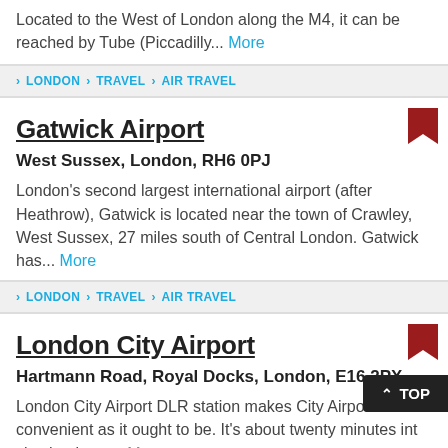Located to the West of London along the M4, it can be reached by Tube (Piccadilly... More
LONDON > TRAVEL > AIR TRAVEL
Gatwick Airport
West Sussex, London, RH6 0PJ
London's second largest international airport (after Heathrow), Gatwick is located near the town of Crawley, West Sussex, 27 miles south of Central London. Gatwick has... More
LONDON > TRAVEL > AIR TRAVEL
London City Airport
Hartmann Road, Royal Docks, London, E16 2PX
London City Airport DLR station makes City Airport as convenient as it ought to be. It's about twenty minutes into the city thanks to... More